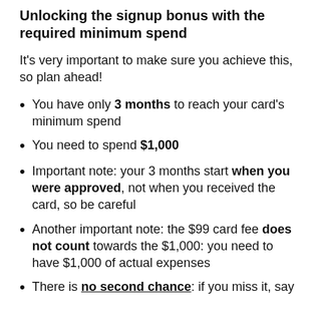Unlocking the signup bonus with the required minimum spend
It's very important to make sure you achieve this, so plan ahead!
You have only 3 months to reach your card's minimum spend
You need to spend $1,000
Important note: your 3 months start when you were approved, not when you received the card, so be careful
Another important note: the $99 card fee does not count towards the $1,000: you need to have $1,000 of actual expenses
There is no second chance: if you miss it, say…